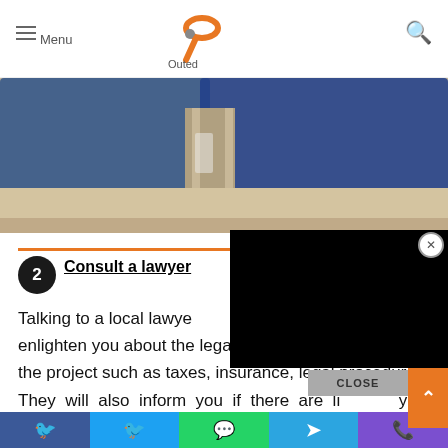Menu | Outed logo | Search
[Figure (photo): Close-up photo of denim jeans sitting on a beige couch/cushion]
2 Consult a lawyer
Talking to a local lawyer can enlighten you about the legal and financial aspects of the project such as taxes, insurance, legal procedures. They will also inform you if there are licences you